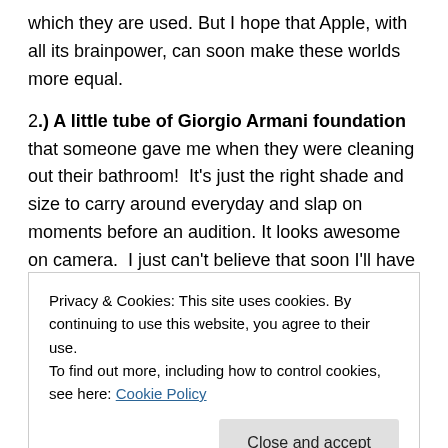which they are used. But I hope that Apple, with all its brainpower, can soon make these worlds more equal.
2.) A little tube of Giorgio Armani foundation that someone gave me when they were cleaning out their bathroom!  It's just the right shade and size to carry around everyday and slap on moments before an audition. It looks awesome on camera.  I just can't believe that soon I'll have to buy my own expensive tube, as this freebie is sputtering to an end.
3.) Pencils with erasers. Every time I see someone write
Privacy & Cookies: This site uses cookies. By continuing to use this website, you agree to their use.
To find out more, including how to control cookies, see here: Cookie Policy
Close and accept